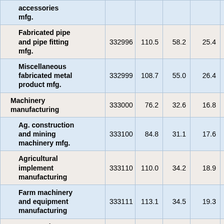| Industry | Code |  |  |  |  |
| --- | --- | --- | --- | --- | --- |
| accessories mfg. |  |  |  |  |  |
| Fabricated pipe and pipe fitting mfg. | 332996 | 110.5 | 58.2 | 25.4 |  |
| Miscellaneous fabricated metal product mfg. | 332999 | 108.7 | 55.0 | 26.4 |  |
| Machinery manufacturing | 333000 | 76.2 | 32.6 | 16.8 |  |
| Ag. construction and mining machinery mfg. | 333100 | 84.8 | 31.1 | 17.6 |  |
| Agricultural implement manufacturing | 333110 | 110.0 | 34.2 | 18.9 |  |
| Farm machinery and equipment manufacturing | 333111 | 113.1 | 34.5 | 19.3 |  |
| Lawn and |  |  |  |  |  |